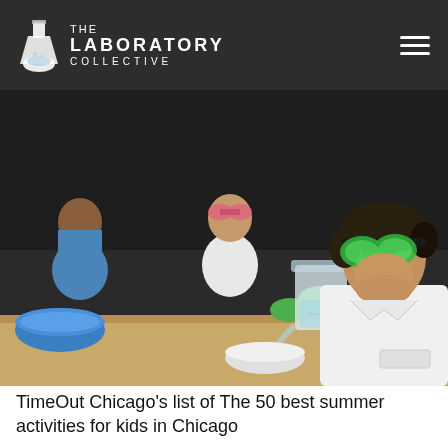THE LABORATORY COLLECTIVE
[Figure (photo): Children in white lab coats and safety goggles conducting a science experiment at a table, pouring liquid between beakers. The main subject is a boy with green goggles in the foreground, and a girl with pink goggles behind him. A blue bowl is visible on the left.]
TimeOut Chicago's list of The 50 best summer activities for kids in Chicago